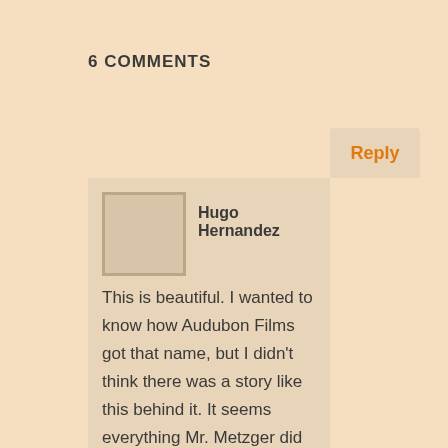6 COMMENTS
Hugo Hernandez
This is beautiful. I wanted to know how Audubon Films got that name, but I didn't think there was a story like this behind it. It seems everything Mr. Metzger did throughout his career he did with love, and now with his untimely passing, that love enriches memories with undescribable nostalgia. Even I, as a fan of his work, can't help feeling